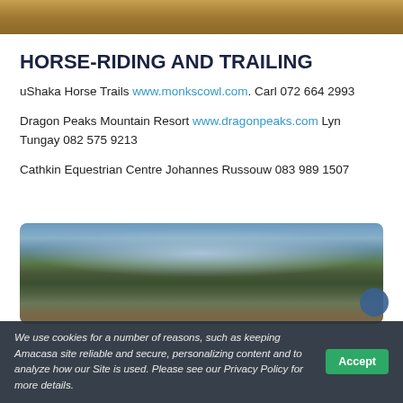[Figure (photo): Top banner image showing warm earthy tones, likely a landscape or terrain photograph cropped to a narrow strip]
HORSE-RIDING AND TRAILING
uShaka Horse Trails www.monkscowl.com. Carl 072 664 2993
Dragon Peaks Mountain Resort www.dragonpeaks.com Lyn Tungay 082 575 9213
Cathkin Equestrian Centre Johannes Russouw 083 989 1507
[Figure (photo): Mountain landscape photograph showing green hills and mountains under a blue sky with white clouds]
We use cookies for a number of reasons, such as keeping Amacasa site reliable and secure, personalizing content and to analyze how our Site is used. Please see our Privacy Policy for more details.